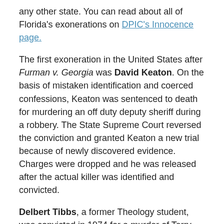any other state. You can read about all of Florida's exonerations on DPIC's Innocence page.
The first exoneration in the United States after Furman v. Georgia was David Keaton. On the basis of mistaken identification and coerced confessions, Keaton was sentenced to death for murdering an off duty deputy sheriff during a robbery. The State Supreme Court reversed the conviction and granted Keaton a new trial because of newly discovered evidence. Charges were dropped and he was released after the actual killer was identified and convicted.
Delbert Tibbs, a former Theology student, was convicted in 1974 for a murder of Terry Milloy and the rape of Milloy's traveling companion, Cynthia Nadeau. Nadeau picked Tibbs out of a lineup and testified against him, even though he did not match her original description of the perpetrator. The Florida Supreme Court ordered a retrial, saying that the victim was an unreliable witness. Prosecutors dropped the